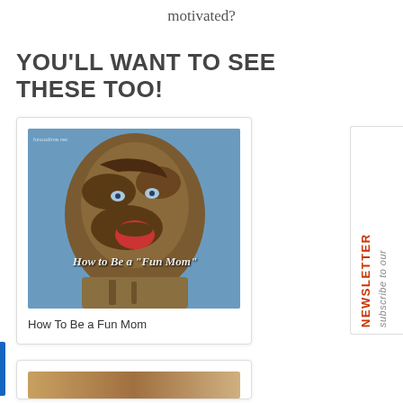motivated?
YOU'LL WANT TO SEE THESE TOO!
[Figure (photo): Photo of a child covered in mud with mouth open, smiling, with text overlay reading 'How to Be a "Fun Mom"']
How To Be a Fun Mom
[Figure (infographic): Sidebar with text 'subscribe to our NEWSLETTER' written vertically]
[Figure (photo): Bottom partially visible card with photo strip]